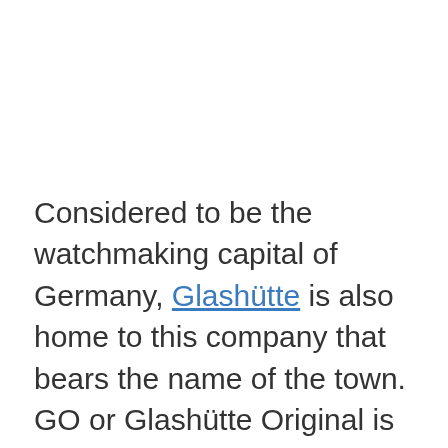Considered to be the watchmaking capital of Germany, Glashütte is also home to this company that bears the name of the town. GO or Glashütte Original is known for a few different styles including sports watches and more elegant designs. Some of their timepieces have been inspired by design